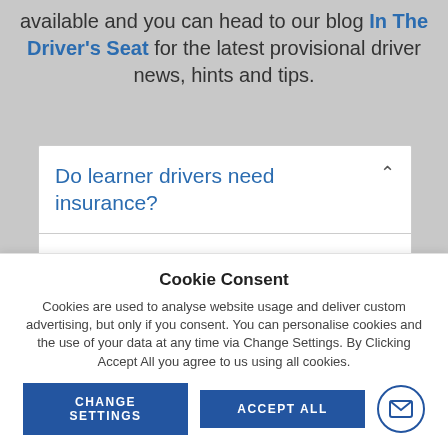available and you can head to our blog In The Driver's Seat for the latest provisional driver news, hints and tips.
Do learner drivers need insurance?
If you drive your own car or a family
Cookie Consent
Cookies are used to analyse website usage and deliver custom advertising, but only if you consent. You can personalise cookies and the use of your data at any time via Change Settings. By Clicking Accept All you agree to us using all cookies.